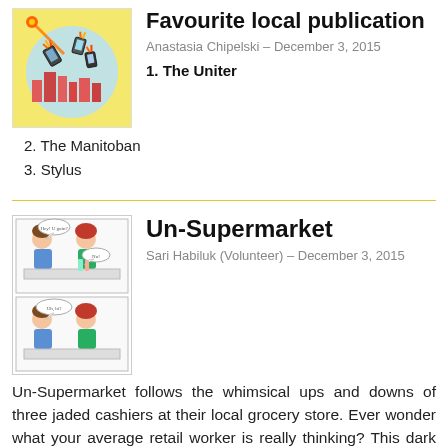[Figure (illustration): Illustration of a city with comic-book style phones flying out with fire/meteor trails, yellow background with circular blue graphic]
Favourite local publication
Anastasia Chipelski – December 3, 2015
1. The Uniter
2. The Manitoban
3. Stylus
[Figure (illustration): Comic strip panels showing two characters (a man and a woman with red hair) in a grocery store setting with speech bubbles]
Un-Supermarket
Sari Habiluk (Volunteer) – December 3, 2015
Un-Supermarket follows the whimsical ups and downs of three jaded cashiers at their local grocery store. Ever wonder what your average retail worker is really thinking? This dark comedy shines a light on some of the attitudes and truths associated with the industry. Though at times cynical, the characters have a sense of humour about their positions and the situations they face on a day to day